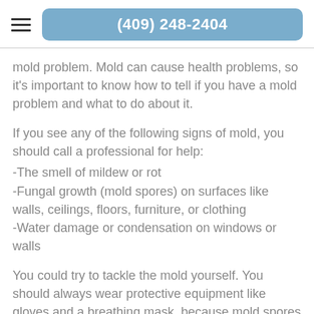(409) 248-2404
mold problem. Mold can cause health problems, so it's important to know how to tell if you have a mold problem and what to do about it.
If you see any of the following signs of mold, you should call a professional for help:
-The smell of mildew or rot
-Fungal growth (mold spores) on surfaces like walls, ceilings, floors, furniture, or clothing
-Water damage or condensation on windows or walls
You could try to tackle the mold yourself. You should always wear protective equipment like gloves and a breathing mask, because mold spores can be harmful when inhaled. If you